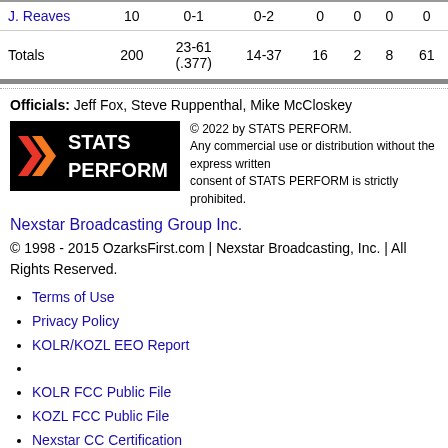| Player | MIN | FG | 3PT | REB | AST | STL | PTS |
| --- | --- | --- | --- | --- | --- | --- | --- |
| J. Reaves | 10 | 0-1 | 0-2 | 0 | 0 | 0 | 0 |
| Totals | 200 | 23-61 (.377) | 14-37 | 16 | 2 | 8 | 61 |
Officials: Jeff Fox, Steve Ruppenthal, Mike McCloskey
[Figure (logo): STATS PERFORM logo with red/orange chevron marks on black background]
© 2022 by STATS PERFORM. Any commercial use or distribution without the express written consent of STATS PERFORM is strictly prohibited.
Nexstar Broadcasting Group Inc.
© 1998 - 2015 OzarksFirst.com | Nexstar Broadcasting, Inc. | All Rights Reserved.
Terms of Use
Privacy Policy
KOLR/KOZL EEO Report
KOLR FCC Public File
KOZL FCC Public File
Nexstar CC Certification